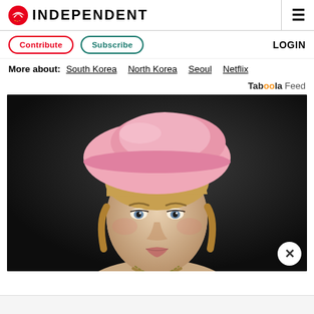INDEPENDENT
Contribute | Subscribe | LOGIN
More about: South Korea  North Korea  Seoul  Netflix
Taboola Feed
[Figure (photo): Woman with blonde hair wearing a large pink beret hat, dressed in a dark outfit with a necklace, photographed against a dark background. A close-up portrait-style photo.]